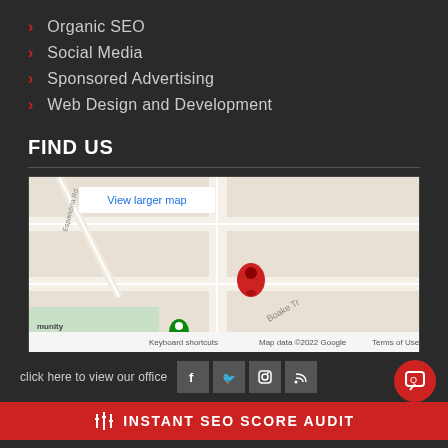Organic SEO
Social Media
Sponsored Advertising
Web Design and Development
FIND US
[Figure (map): Google Maps embed showing a location pin. View larger map button visible. Shows street map with roads, including Boake Tr. Community & Pool visible at bottom left. Google logo and copyright notice visible.]
click here to view our office
INSTANT SEO SCORE AUDIT